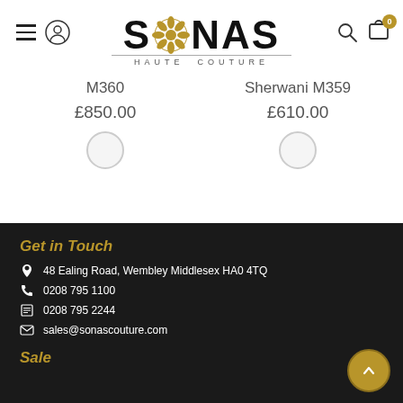[Figure (logo): SONAS Haute Couture logo with decorative gold floral element replacing the letter O]
M360
£850.00
Sherwani M359
£610.00
Get in Touch
48 Ealing Road, Wembley Middlesex HA0 4TQ
0208 795 1100
0208 795 2244
sales@sonascouture.com
Sale